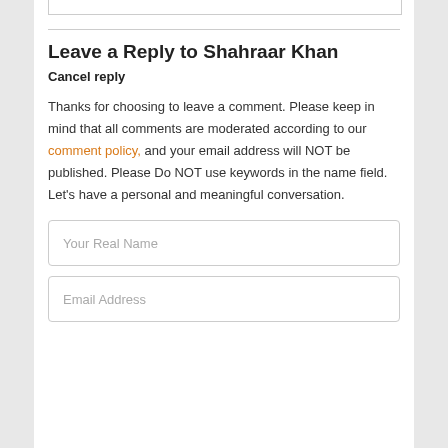Leave a Reply to Shahraar Khan
Cancel reply
Thanks for choosing to leave a comment. Please keep in mind that all comments are moderated according to our comment policy, and your email address will NOT be published. Please Do NOT use keywords in the name field. Let's have a personal and meaningful conversation.
Your Real Name
Email Address